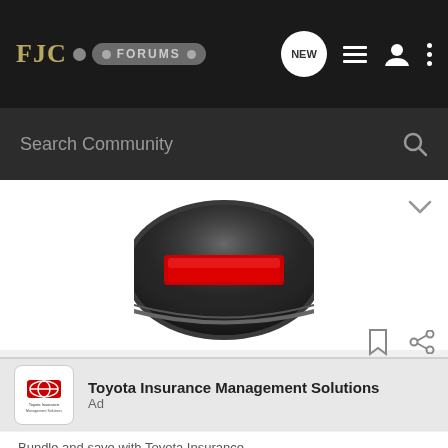FJC FORUMS
Search Community
[Figure (photo): Partial view of a car audio/stereo component with a red display and dark metallic circular housing, shown against a white background.]
Toyota Insurance Management Solutions
Ad
Bundle and save with Toyota Insurance.
Our online platform makes customizing your policy quick and easy. It's insurance from the people who know your Toyota best.